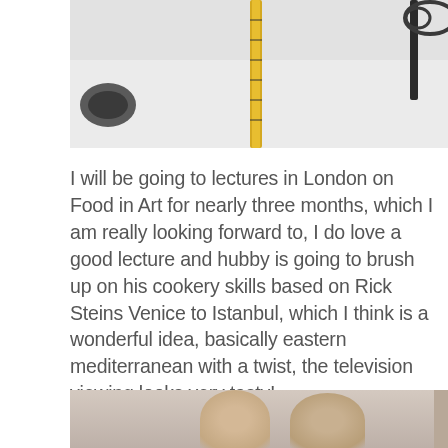[Figure (photo): Partial view of a snowy outdoor scene with a measuring tape and dark poles or rods visible against white snow background]
I will be going to lectures in London on Food in Art for nearly three months, which I am really looking forward to, I do love a good lecture and hubby is going to brush up on his cookery skills based on Rick Steins Venice to Istanbul, which I think is a wonderful idea, basically eastern mediterranean with a twist, the television viewing looks very tasty!
May I wish you all a very happy new year, may 2018 be everything you hope and wish for, sending much love. Mandy and hubby x.
[Figure (photo): Partial view of two people, showing the tops of their heads, appearing to be a couple, with a beige/cream background and a partial view of a bright object on the right edge]